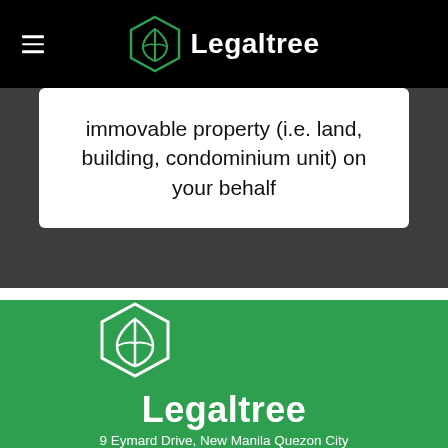Legaltree
immovable property (i.e. land, building, condominium unit) on your behalf
[Figure (logo): Legaltree logo with hexagon/leaf icon in white on green background with address: 9 Eymard Drive, New Manila Quezon City]